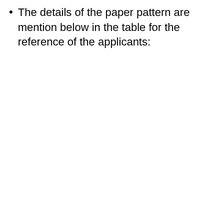The details of the paper pattern are mention below in the table for the reference of the applicants: